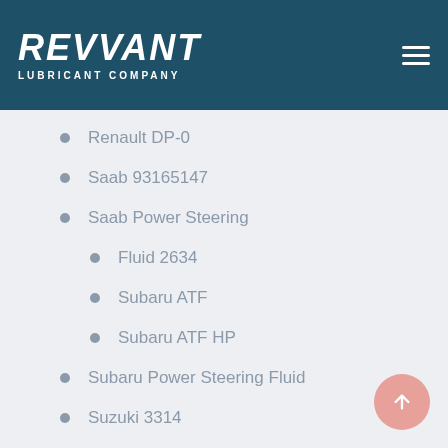REVVANT LUBRICANT COMPANY
North American OEM
Multi-Vehicle Full Synthetic ATF
PSA B71 2340
Renault DP-0
Saab 93165147
Saab Power Steering
Fluid 2634
Subaru ATF
Subaru ATF HP
Subaru Power Steering Fluid
Suzuki 3314